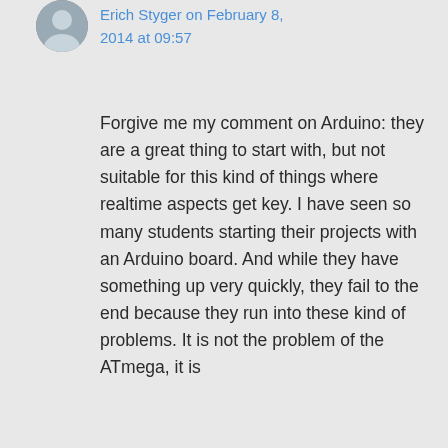[Figure (photo): Circular avatar photo of user Erich Styger]
Erich Styger on February 8, 2014 at 09:57
Forgive me my comment on Arduino: they are a great thing to start with, but not suitable for this kind of things where realtime aspects get key. I have seen so many students starting their projects with an Arduino board. And while they have something up very quickly, they fail to the end because they run into these kind of problems. It is not the problem of the ATmega, it is